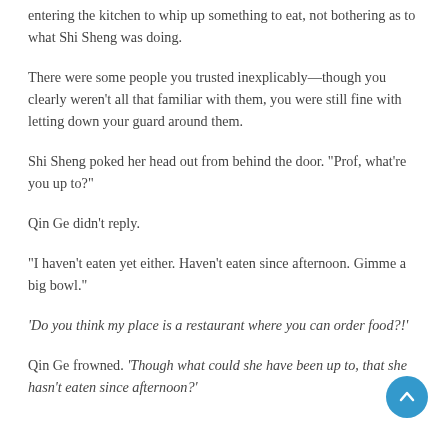entering the kitchen to whip up something to eat, not bothering as to what Shi Sheng was doing.
There were some people you trusted inexplicably—though you clearly weren't all that familiar with them, you were still fine with letting down your guard around them.
Shi Sheng poked her head out from behind the door. “Prof, what’re you up to?”
Qin Ge didn’t reply.
“I haven’t eaten yet either. Haven’t eaten since afternoon. Gimme a big bowl.”
‘Do you think my place is a restaurant where you can order food?!’
Qin Ge frowned. ‘Though what could she have been up to, that she hasn’t eaten since afternoon?’